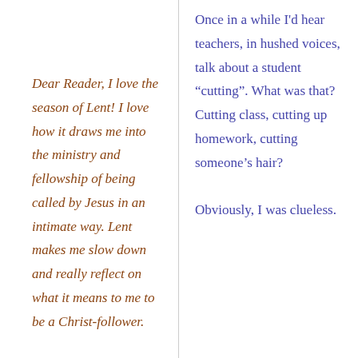Dear Reader, I love the season of Lent! I love how it draws me into the ministry and fellowship of being called by Jesus in an intimate way. Lent makes me slow down and really reflect on what it means to me to be a Christ-follower.
Once in a while I'd hear teachers, in hushed voices, talk about a student “cutting”. What was that? Cutting class, cutting up homework, cutting someone’s hair? Obviously, I was clueless.